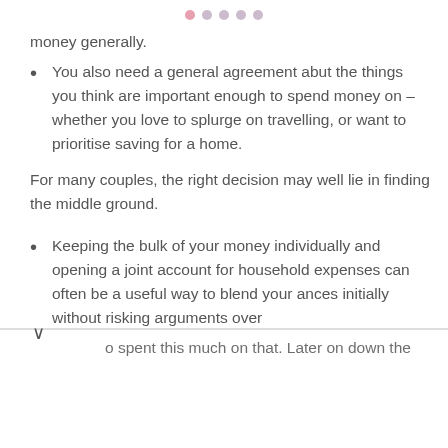● ● ● ● ●
money generally.
You also need a general agreement abut the things you think are important enough to spend money on – whether you love to splurge on travelling, or want to prioritise saving for a home.
For many couples, the right decision may well lie in finding the middle ground.
Keeping the bulk of your money individually and opening a joint account for household expenses can often be a useful way to blend your ances initially without risking arguments over
o spent this much on that. Later on down the